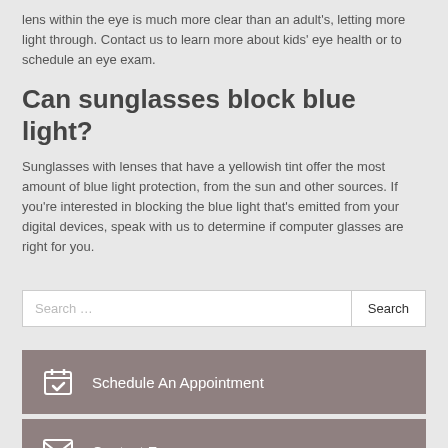lens within the eye is much more clear than an adult's, letting more light through. Contact us to learn more about kids' eye health or to schedule an eye exam.
Can sunglasses block blue light?
Sunglasses with lenses that have a yellowish tint offer the most amount of blue light protection, from the sun and other sources. If you're interested in blocking the blue light that's emitted from your digital devices, speak with us to determine if computer glasses are right for you.
Search ...
Schedule An Appointment
Contact Form